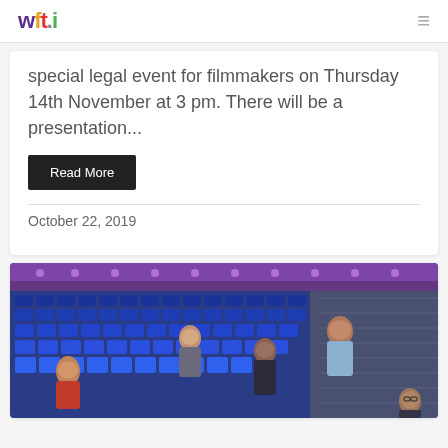wft.i
special legal event for filmmakers on Thursday 14th November at 3 pm. There will be a presentation...
Read More
October 22, 2019
[Figure (photo): Group of people posing in a blue-seated cinema/theatre auditorium with purple accent lighting on the ceiling.]